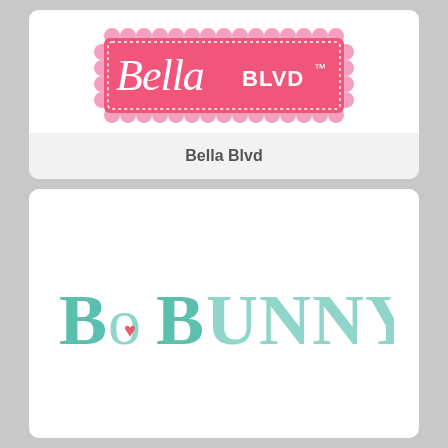[Figure (logo): Bella Blvd logo - pink rectangle with scalloped border, script 'Bella' text and 'BLVD TM' text in white on hot pink background]
Bella Blvd
[Figure (logo): BoBunny logo - teal/mint colored serif capitals spelling BoBunny with a small pink heart inside the letter O]